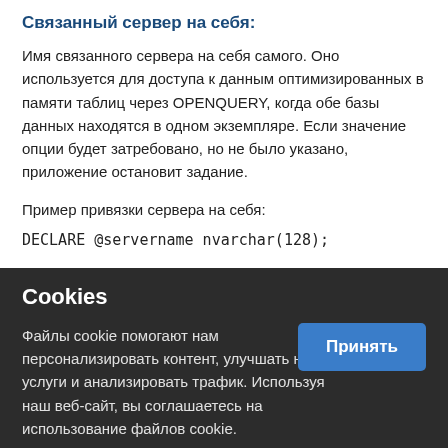Связанный сервер на себя:
Имя связанного сервера на себя самого. Оно используется для доступа к данным оптимизированных в памяти таблиц через OPENQUERY, когда обе базы данных находятся в одном экземпляре. Если значение опции будет затребовано, но не было указано, приложение остановит задание.
Пример привязки сервера на себя:
DECLARE @servername nvarchar(128);
Cookies
Файлы cookie помогают нам персонализировать контент, улучшать наши услуги и анализировать трафик. Используя наш веб-сайт, вы соглашаетесь на использование файлов cookie.
Политика Cookie